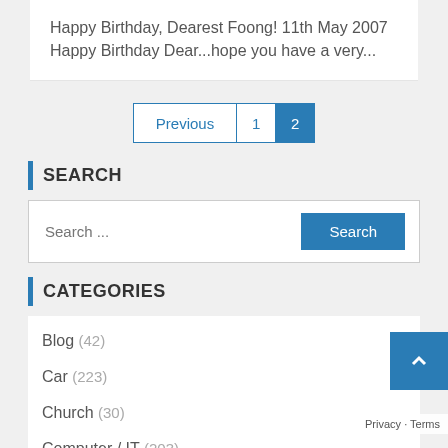Happy Birthday, Dearest Foong! 11th May 2007 Happy Birthday Dear…hope you have a very…
Previous 1 2
SEARCH
Search ...
CATEGORIES
Blog (42)
Car (223)
Church (30)
Computer / IT (203)